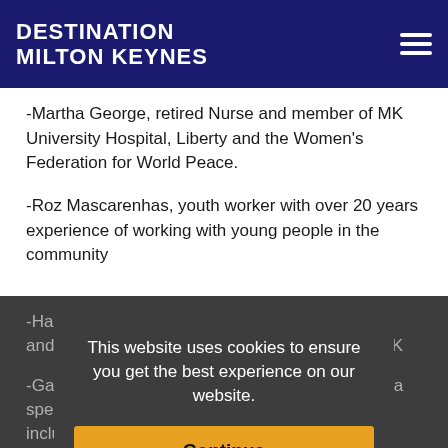DESTINATION MILTON KEYNES
-Martha George, retired Nurse and member of MK University Hospital, Liberty and the Women's Federation for World Peace.
-Roz Mascarenhas, youth worker with over 20 years experience of working with young people in the community
-Hannah Olarewaju, works in the music industry, and runs a community projects organisation in MK
-Garnet Yafai, Founder of Diversity Marketplace, a specialist consultancy for equality, diversity and inclusion
This website uses cookies to ensure you get the best experience on our website.
Continue